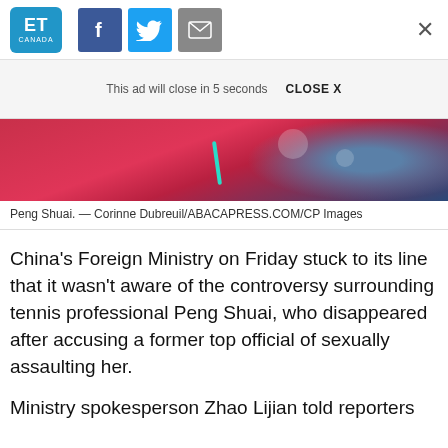ET Canada | f | Twitter | Mail | X
This ad will close in 5 seconds   CLOSE X
[Figure (photo): Close-up photo of Peng Shuai in a red/pink outfit with teal strap detail, blurred blue background]
Peng Shuai. — Corinne Dubreuil/ABACAPRESS.COM/CP Images
China's Foreign Ministry on Friday stuck to its line that it wasn't aware of the controversy surrounding tennis professional Peng Shuai, who disappeared after accusing a former top official of sexually assaulting her.
Ministry spokesperson Zhao Lijian told reporters